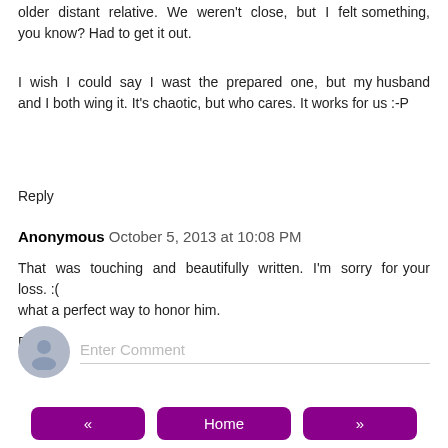older distant relative. We weren't close, but I felt something, you know? Had to get it out.
I wish I could say I wast the prepared one, but my husband and I both wing it. It's chaotic, but who cares. It works for us :-P
Reply
Anonymous  October 5, 2013 at 10:08 PM
That was touching and beautifully written. I'm sorry for your loss. :(
what a perfect way to honor him.
Reply
Enter Comment
«  Home  »